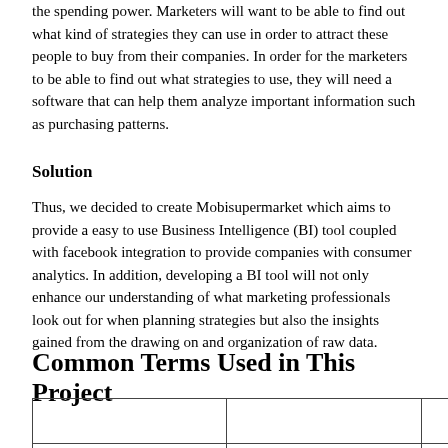the spending power. Marketers will want to be able to find out what kind of strategies they can use in order to attract these people to buy from their companies. In order for the marketers to be able to find out what strategies to use, they will need a software that can help them analyze important information such as purchasing patterns.
Solution
Thus, we decided to create Mobisupermarket which aims to provide a easy to use Business Intelligence (BI) tool coupled with facebook integration to provide companies with consumer analytics. In addition, developing a BI tool will not only enhance our understanding of what marketing professionals look out for when planning strategies but also the insights gained from the drawing on and organization of raw data.
Common Terms Used in This Project
|  |  |  |
| --- | --- | --- |
|  |  |  |
|  |  | A campaign is
base f... |